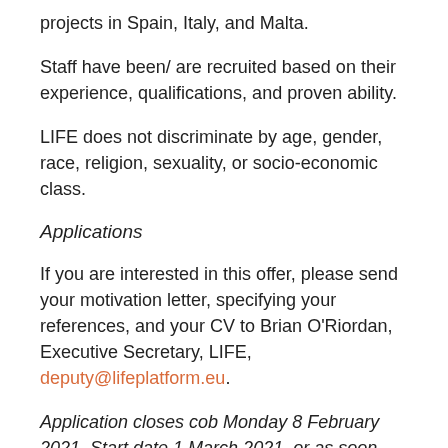projects in Spain, Italy, and Malta.
Staff have been/ are recruited based on their experience, qualifications, and proven ability.
LIFE does not discriminate by age, gender, race, religion, sexuality, or socio-economic class.
Applications
If you are interested in this offer, please send your motivation letter, specifying your references, and your CV to Brian O'Riordan, Executive Secretary, LIFE, deputy@lifeplatform.eu.
Application closes cob Monday 8 February 2021. Start date 1 March 2021, or as soon after as possible.